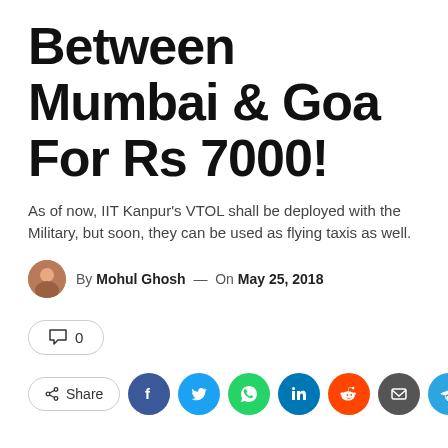Between Mumbai & Goa For Rs 7000!
As of now, IIT Kanpur's VTOL shall be deployed with the Military, but soon, they can be used as flying taxis as well.
By Mohul Ghosh — On May 25, 2018
💬 0
Share (social icons: Facebook, Twitter, WhatsApp, LinkedIn, Reddit, Email, Telegram, Print)